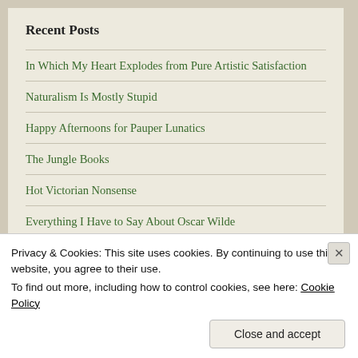Recent Posts
In Which My Heart Explodes from Pure Artistic Satisfaction
Naturalism Is Mostly Stupid
Happy Afternoons for Pauper Lunatics
The Jungle Books
Hot Victorian Nonsense
Everything I Have to Say About Oscar Wilde
Tragedy in the Woodlands
Well, This Is Embarrassing
Privacy & Cookies: This site uses cookies. By continuing to use this website, you agree to their use.
To find out more, including how to control cookies, see here: Cookie Policy